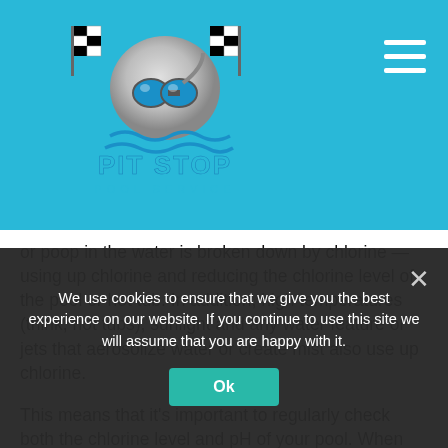[Figure (logo): Pit Stop Pool Service logo: a scuba diver with checkered racing flags and water waves, metallic silver and blue design with text 'PIT STOP POOL SERVICE' below]
or poop in the water is broken down by chlorine — using up chlorine and reducing the chlorine level of the pool or hot tub. In addition, high temperatures (think, hot tubs), sunlight and any water feature or jets that aerosolize water or create mist also use up chlorine.
This means that it's important to regularly check both the chlorine level and pH of your pool. When both chlorine and pH are maintained at the right level and range, the result is a perfect balance between germ-killing and pool-system longevity. In addition, this range
We use cookies to ensure that we give you the best experience on our website. If you continue to use this site we will assume that you are happy with it.